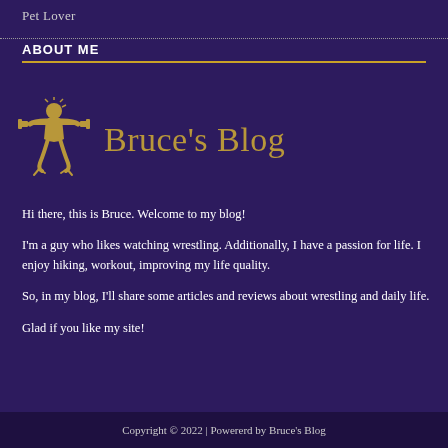Pet Lover
ABOUT ME
[Figure (logo): Bruce's Blog logo with a wrestling figure lifting weights and the text 'Bruce's Blog' in gold]
Hi there, this is Bruce. Welcome to my blog!
I'm a guy who likes watching wrestling. Additionally, I have a passion for life. I enjoy hiking, workout, improving my life quality.
So, in my blog, I'll share some articles and reviews about wrestling and daily life.
Glad if you like my site!
Copyright © 2022 | Powererd by Bruce's Blog